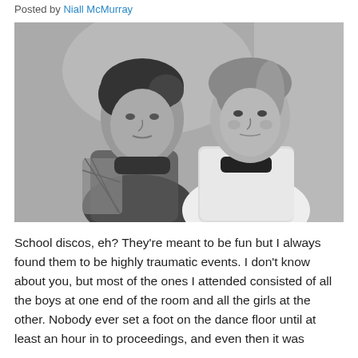Posted by Niall McMurray
[Figure (photo): Black and white photograph of two men looking at the camera. The man on the left has dark curly hair and is wearing a dark turtleneck with a light patterned jacket draped over his shoulder. The man on the right has lighter, longer hair and is wearing a white jacket with a dark turtleneck.]
School discos, eh? They're meant to be fun but I always found them to be highly traumatic events. I don't know about you, but most of the ones I attended consisted of all the boys at one end of the room and all the girls at the other. Nobody ever set a foot on the dance floor until at least an hour in to proceedings, and even then it was